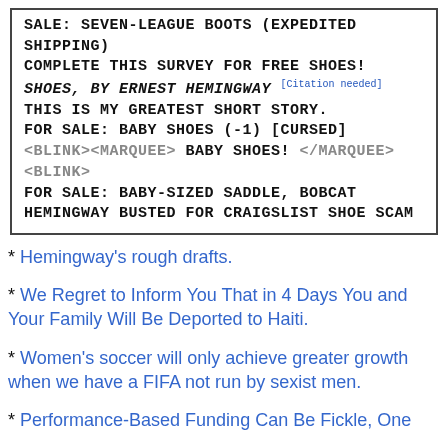[Figure (illustration): Comic-style box with handwritten/monospace uppercase text listing humorous shoe-related items and news headlines, including a Wikipedia citation needed tag and HTML blink/marquee tags]
* Hemingway's rough drafts.
* We Regret to Inform You That in 4 Days You and Your Family Will Be Deported to Haiti.
* Women's soccer will only achieve greater growth when we have a FIFA not run by sexist men.
* Performance-Based Funding Can Be Fickle, One